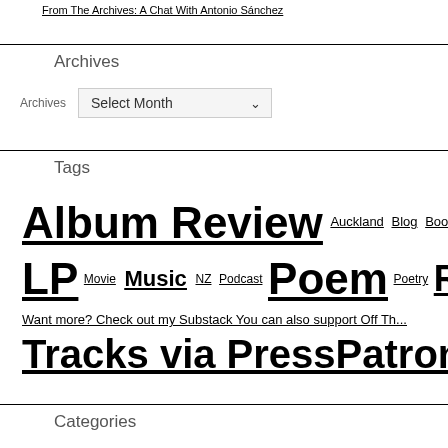From The Archives: A Chat With Antonio Sánchez
Archives
Archives  Select Month
Tags
Album Review  Auckland  Blog  Book  Book Review  Chat  Co...
LP  Movie  Music  NZ  Podcast  Poem  Poetry  Record  Records  Sh...
Want more? Check out my Substack You can also support Off Th...
Tracks via PressPatron [OST]
Categories